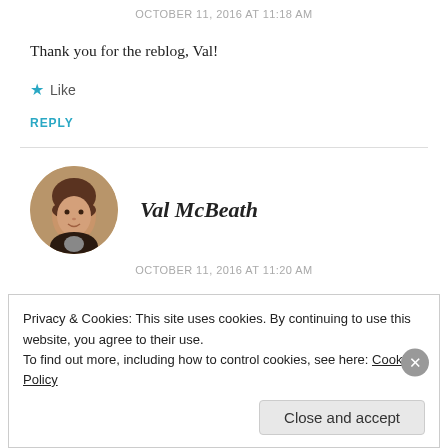OCTOBER 11, 2016 AT 11:18 AM
Thank you for the reblog, Val!
★ Like
REPLY
[Figure (photo): Circular avatar photo of Val McBeath, a woman with brown hair]
Val McBeath
OCTOBER 11, 2016 AT 11:20 AM
Privacy & Cookies: This site uses cookies. By continuing to use this website, you agree to their use.
To find out more, including how to control cookies, see here: Cookie Policy
Close and accept